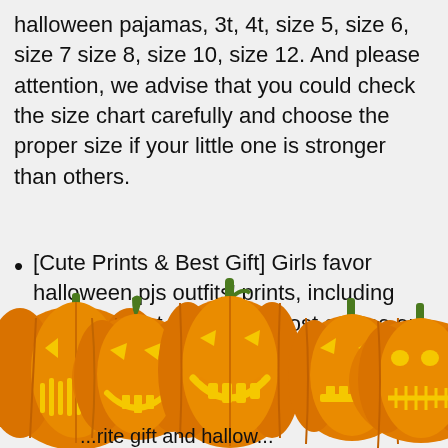halloween pajamas, 3t, 4t, size 5, size 6, size 7 size 8, size 10, size 12. And please attention, we advise that you could check the size chart carefully and choose the proper size if your little one is stronger than others.
[Cute Prints & Best Gift] Girls favor halloween pjs outfits' prints, including pumpkin, Cat, unicorn, Ghost and so on. We have a professional design team making the clot...
[Figure (illustration): Five carved Halloween jack-o-lantern pumpkins in a row at the bottom of the page, orange with green stems, each with different face carvings. Partially overlapping and cut off at bottom.]
...favorite gift and hallow...